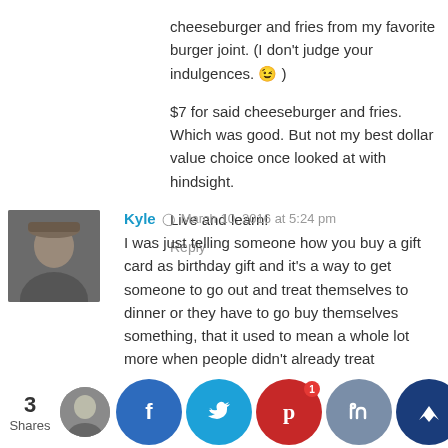cheeseburger and fries from my favorite burger joint. (I don't judge your indulgences. 😉 )
$7 for said cheeseburger and fries. Which was good. But not my best dollar value choice once looked at with hindsight.
Live and learn!
Reply
[Figure (photo): Profile photo of commenter Kyle - man wearing a hat]
Kyle  ◎  March 10, 2016 at 5:24 pm
I was just telling someone how you buy a gift card as birthday gift and it's a way to get someone to go out and treat themselves to dinner or they have to go buy themselves something, that it used to mean a whole lot more when people didn't already treat themselves ALL THE TIME.
I recently wrote about a theory I have of people who treat themselves regularly vs people who don't and that there are usually several other personality traits that follow those tendencies.
Reply
3 Shares
[Figure (infographic): Social sharing buttons: Facebook, Twitter, Pinterest (1), thumbs-up, crown icon]